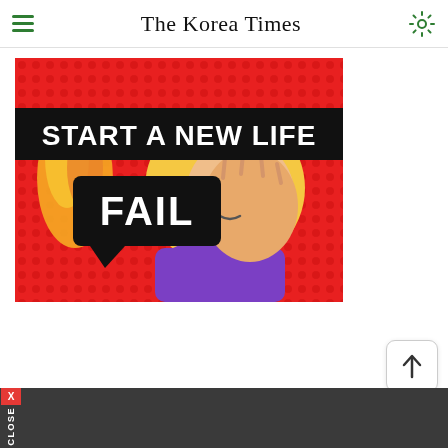The Korea Times
[Figure (illustration): Advertisement image with red dotted background showing animated cartoon character — a blonde woman doing a facepalm gesture wearing purple sleeves. Large black banner reads 'START A NEW LIFE' in white bold text, and a black speech-bubble sticker reads 'FAIL' in white bold text. Orange flame visible at left.]
[Figure (other): Back to top button — white rounded rectangle with upward arrow symbol]
CLOSE